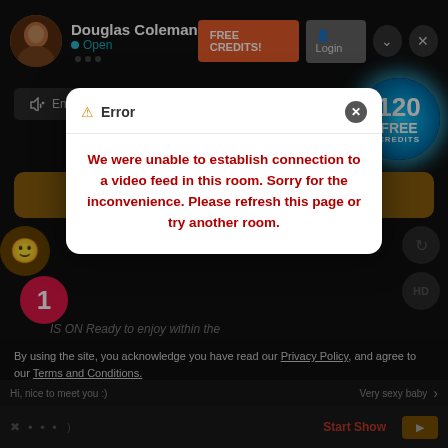Douglas Coleman • Open
[Figure (screenshot): Website UI showing a dark-themed chat/video platform with user profile (Douglas Coleman, Open status), FREE CREDITS button, Login button, Enable Audio button, 120 FREE CREDITS badge, and a welcome text banner partially visible.]
Welcome to the private room of
[Figure (screenshot): Error modal dialog with white background. Header shows warning triangle icon and 'Error' text with X close button. Body shows red bold text: 'We were unable to establish connection to a video feed in this room. Sorry for the inconvenience. Please refresh this page or try another room.']
We were unable to establish connection to a video feed in this room. Sorry for the inconvenience. Please refresh this page or try another room.
IS ON Ready to enjoy within the
By using the site, you acknowledge you have read our Privacy Policy, and agree to our Terms and Conditions.
We use cookies to optimize your experience, analyze traffic, and deliver more personalized service. To learn more, please see our Privacy Policy.
Hi, nice to meet you :)
Very sexy baby
I AGREE
Start Show